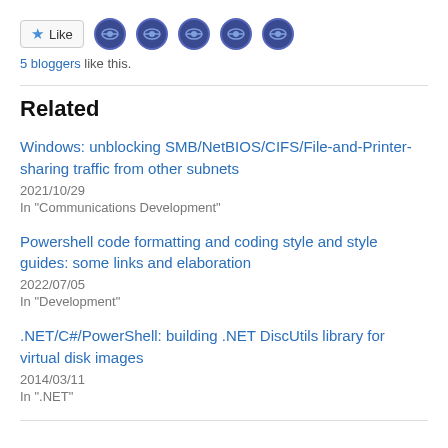[Figure (other): Like button with star icon and 5 blogger avatar icons]
5 bloggers like this.
Related
Windows: unblocking SMB/NetBIOS/CIFS/File-and-Printer-sharing traffic from other subnets
2021/10/29
In "Communications Development"
Powershell code formatting and coding style and style guides: some links and elaboration
2022/07/05
In "Development"
.NET/C#/PowerShell: building .NET DiscUtils library for virtual disk images
2014/03/11
In ".NET"